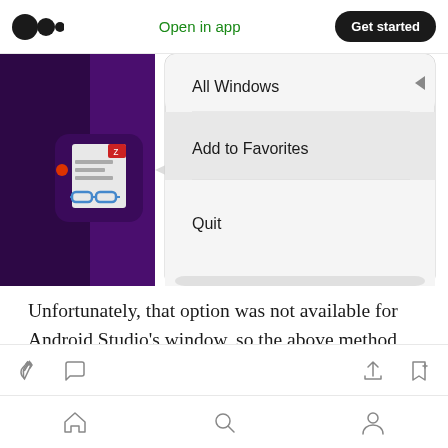Open in app | Get started
[Figure (screenshot): Screenshot of a macOS right-click context menu showing options: All Windows, Add to Favorites (highlighted), and Quit. The menu appears next to a purple Android Studio app icon in the dock.]
Unfortunately, that option was not available for Android Studio's window, so the above method was necessary.
Clap, Comment, Share, Bookmark icons; Home, Search, Profile navigation